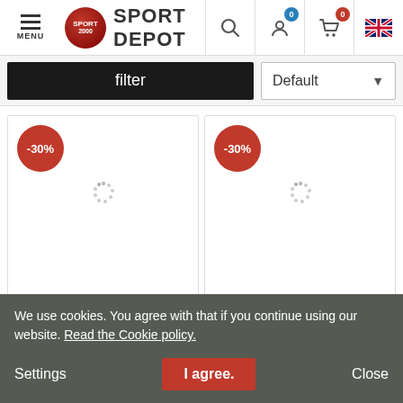SPORT DEPOT
filter
Default
[Figure (screenshot): Product card 1 with -30% discount badge and loading spinner, brand: OLANG, product: HAPPY Boots]
OLANG
HAPPY Boots
[Figure (screenshot): Product card 2 with -30% discount badge and loading spinner, brand: OLANG, product: GRAZIA Boots]
OLANG
GRAZIA Boots
We use cookies. You agree with that if you continue using our website. Read the Cookie policy.
Settings   I agree.   Close